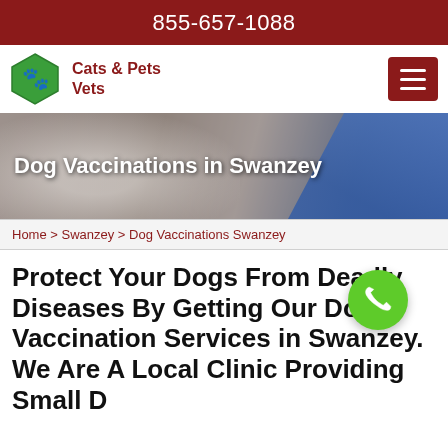855-657-1088
Cats & Pets Vets
[Figure (photo): Hero banner showing a white fluffy dog being examined by a vet wearing blue gloves and a stethoscope, with the title 'Dog Vaccinations in Swanzey' overlaid in white text]
Home > Swanzey > Dog Vaccinations Swanzey
Protect Your Dogs From Deadly Diseases By Getting Our Dog Vaccination Services in Swanzey. We Are A Local Clinic Providing Small D...